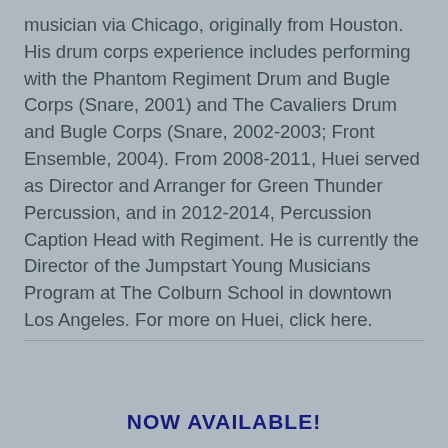musician via Chicago, originally from Houston. His drum corps experience includes performing with the Phantom Regiment Drum and Bugle Corps (Snare, 2001) and The Cavaliers Drum and Bugle Corps (Snare, 2002-2003; Front Ensemble, 2004). From 2008-2011, Huei served as Director and Arranger for Green Thunder Percussion, and in 2012-2014, Percussion Caption Head with Regiment. He is currently the Director of the Jumpstart Young Musicians Program at The Colburn School in downtown Los Angeles. For more on Huei, click here.
NOW AVAILABLE!